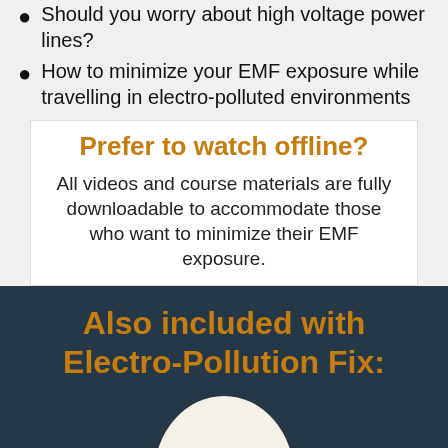Should you worry about high voltage power lines?
How to minimize your EMF exposure while travelling in electro-polluted environments
Prefer to watch offline?
All videos and course materials are fully downloadable to accommodate those who want to minimize their EMF exposure.
Also included with Electro-Pollution Fix: